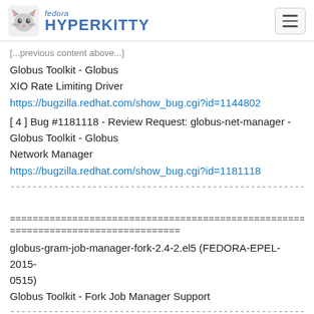fedora HYPERKITTY
[...previous text truncated...]
Globus Toolkit - Globus
XIO Rate Limiting Driver
https://bugzilla.redhat.com/show_bug.cgi?id=1144802
[ 4 ] Bug #1181118 - Review Request: globus-net-manager - Globus Toolkit - Globus
Network Manager
https://bugzilla.redhat.com/show_bug.cgi?id=1181118
--------------------------------------------------------------------------------
================================================================================
==============================
globus-gram-job-manager-fork-2.4-2.el5 (FEDORA-EPEL-2015-0515)
Globus Toolkit - Fork Job Manager Support
--------------------------------------------------------------------------------
Update Information:
Globus Toolkit update.